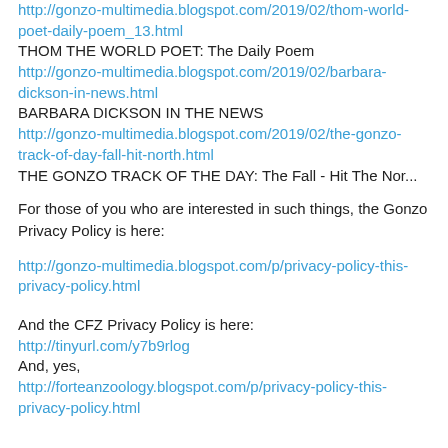http://gonzo-multimedia.blogspot.com/2019/02/thom-world-poet-daily-poem_13.html
THOM THE WORLD POET: The Daily Poem
http://gonzo-multimedia.blogspot.com/2019/02/barbara-dickson-in-news.html
BARBARA DICKSON IN THE NEWS
http://gonzo-multimedia.blogspot.com/2019/02/the-gonzo-track-of-day-fall-hit-north.html
THE GONZO TRACK OF THE DAY: The Fall - Hit The Nor...
For those of you who are interested in such things, the Gonzo Privacy Policy is here:
http://gonzo-multimedia.blogspot.com/p/privacy-policy-this-privacy-policy.html
And the CFZ Privacy Policy is here:
http://tinyurl.com/y7b9rlog
And, yes,
http://forteanzoology.blogspot.com/p/privacy-policy-this-privacy-policy.html